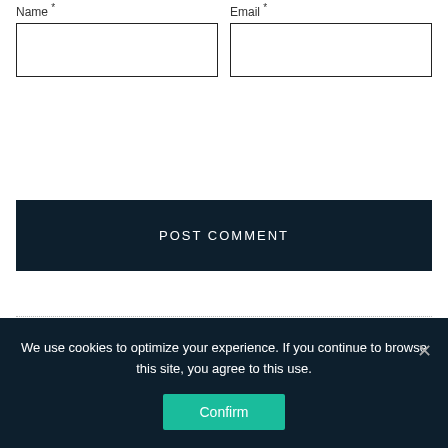Name *
Email *
POST COMMENT
MUST READ
We use cookies to optimize your experience. If you continue to browse this site, you agree to this use.
Confirm